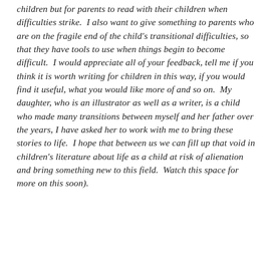children but for parents to read with their children when difficulties strike.  I also want to give something to parents who are on the fragile end of the child's transitional difficulties, so that they have tools to use when things begin to become difficult.  I would appreciate all of your feedback, tell me if you think it is worth writing for children in this way, if you would find it useful, what you would like more of and so on.  My daughter, who is an illustrator as well as a writer, is a child who made many transitions between myself and her father over the years, I have asked her to work with me to bring these stories to life.  I hope that between us we can fill up that void in children's literature about life as a child at risk of alienation and bring something new to this field.  Watch this space for more on this soon).